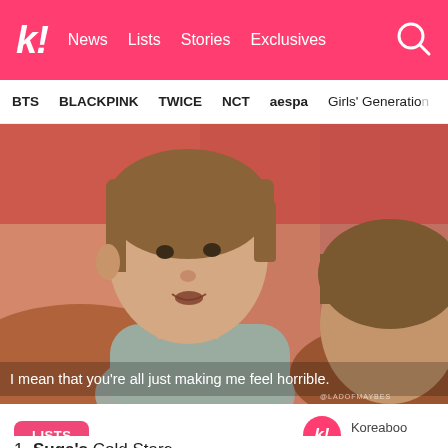k! News Lists Stories Exclusives
BTS BLACKPINK TWICE NCT aespa Girls' Generation
[Figure (photo): A young man with brown bowl-cut hair wearing a grey turtleneck, seated, mouth slightly open, looking to the side. Another person with brown hair is partially visible to the right. Background shows reddish-orange seating. Subtitle text reads: I mean that you're all just making me feel horrible.]
I mean that you're all just making me feel horrible.
LISTS
Koreaboo
April 1st, 2018
1. Suga's Cold Stare